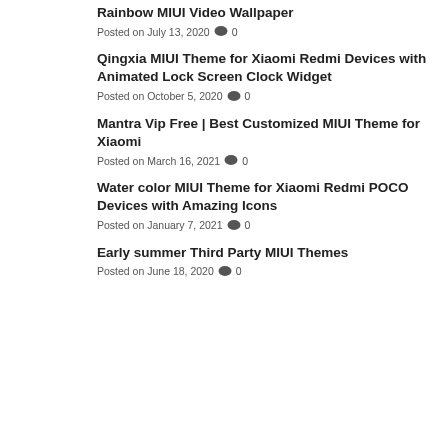Rainbow MIUI Video Wallpaper
Posted on July 13, 2020  💬 0
Qingxia MIUI Theme for Xiaomi Redmi Devices with Animated Lock Screen Clock Widget
Posted on October 5, 2020  💬 0
Mantra Vip Free | Best Customized MIUI Theme for Xiaomi
Posted on March 16, 2021  💬 0
Water color MIUI Theme for Xiaomi Redmi POCO Devices with Amazing Icons
Posted on January 7, 2021  💬 0
Early summer Third Party MIUI Themes
Posted on June 18, 2020  💬 0